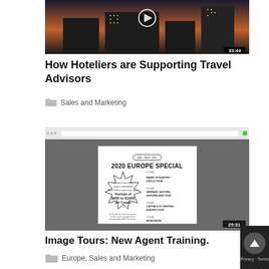[Figure (screenshot): Video thumbnail showing a building at dusk/night with a play button overlay and duration badge 33:44]
How Hoteliers are Supporting Travel Advisors
Sales and Marketing
[Figure (screenshot): Video thumbnail showing a browser screenshot of a 2020 Europe Special travel flyer with savings of $600 to $1000 per Couple, duration badge 25:31]
Image Tours: New Agent Training.
Europe, Sales and Marketing